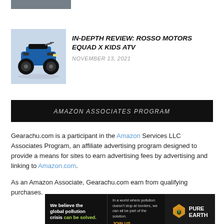[Figure (photo): Partial top of an image (vehicle or outdoor scene), cropped at top of page]
[Figure (photo): Blue kids ATV (quad bike) parked on pavement, side view]
IN-DEPTH REVIEW: ROSSO MOTORS EQUAD X KIDS ATV
NOVEMBER 13, 2021
AMAZON ASSOCIATES PROGRAM
Gearachu.com is a participant in the Amazon Services LLC Associates Program, an affiliate advertising program designed to provide a means for sites to earn advertising fees by advertising and linking to Amazon.com.
As an Amazon Associate, Gearachu.com earn from qualifying purchases.
[Figure (infographic): Pure Earth advertisement banner: black background with white bold text 'We believe the global pollution crisis can be solved.' in green, smaller text about pollution not stopping at borders, 'JOIN US.' in orange, and Pure Earth logo with diamond icon on the right]